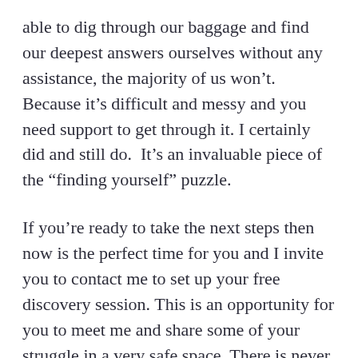able to dig through our baggage and find our deepest answers ourselves without any assistance, the majority of us won't. Because it's difficult and messy and you need support to get through it. I certainly did and still do.  It's an invaluable piece of the “finding yourself” puzzle.
If you’re ready to take the next steps then now is the perfect time for you and I invite you to contact me to set up your free discovery session. This is an opportunity for you to meet me and share some of your struggle in a very safe space. There is never a better time than now and I’m looking forward to guiding you along your path